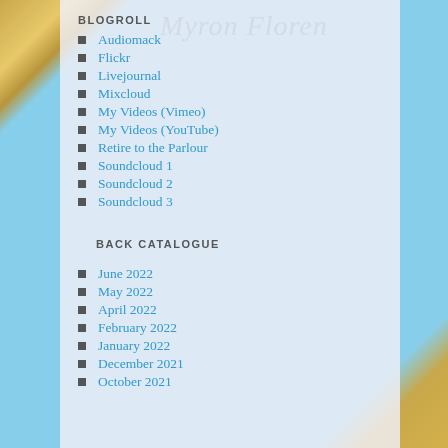BLOGROLL
Audiomack
Flickr
Livejournal
Mixcloud
My Videos (Vimeo)
My Videos (YouTube)
Retire to the Parlour
Soundcloud 1
Soundcloud 2
Soundcloud 3
BACK CATALOGUE
June 2022
May 2022
April 2022
February 2022
January 2022
December 2021
October 2021